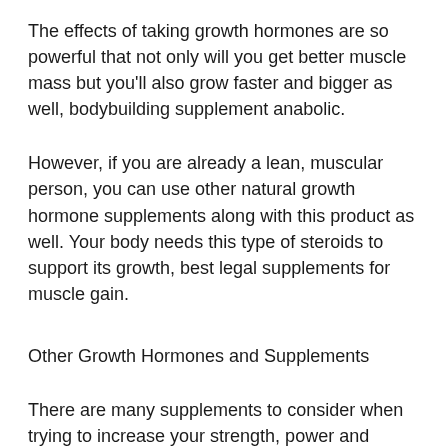The effects of taking growth hormones are so powerful that not only will you get better muscle mass but you'll also grow faster and bigger as well, bodybuilding supplement anabolic.
However, if you are already a lean, muscular person, you can use other natural growth hormone supplements along with this product as well. Your body needs this type of steroids to support its growth, best legal supplements for muscle gain.
Other Growth Hormones and Supplements
There are many supplements to consider when trying to increase your strength, power and endurance as well as enhance your athletic capabilities.
The following is the list of growth hormone